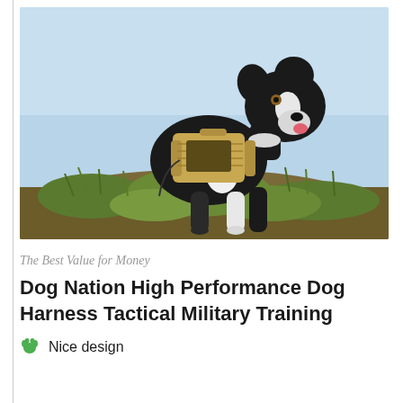[Figure (photo): A black and white Border Collie dog wearing a tan/khaki tactical military vest harness, standing on a grassy hillside with a light blue sky background.]
The Best Value for Money
Dog Nation High Performance Dog Harness Tactical Military Training
Nice design